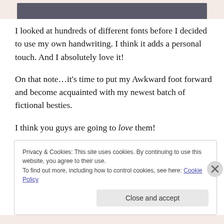[Figure (photo): Partial photo visible at top of page, dark clothing against gray background]
I looked at hundreds of different fonts before I decided to use my own handwriting. I think it adds a personal touch. And I absolutely love it!
On that note…it's time to put my Awkward foot forward and become acquainted with my newest batch of fictional besties.
I think you guys are going to love them!
Privacy & Cookies: This site uses cookies. By continuing to use this website, you agree to their use.
To find out more, including how to control cookies, see here: Cookie Policy